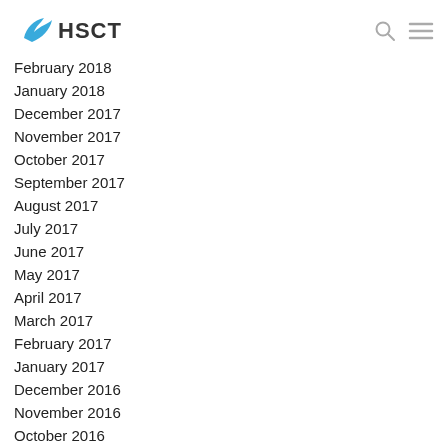HSCT
February 2018
January 2018
December 2017
November 2017
October 2017
September 2017
August 2017
July 2017
June 2017
May 2017
April 2017
March 2017
February 2017
January 2017
December 2016
November 2016
October 2016
September 2016